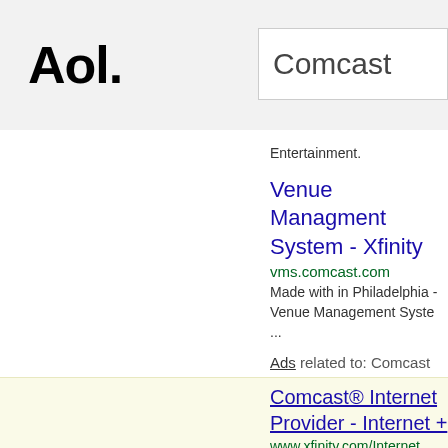[Figure (screenshot): AOL logo in black bold text]
Comcast
Entertainment.
Venue Managment System - Xfinity
vms.comcast.com
Made with in Philadelphia - Venue Management Syste... ...
Ads related to: Comcast
Comcast® Internet Provider - Internet +
www.xfinity.com/Internet
Get Comcast Internet w/ Unlimited Data, 2-Year Rate Equipment & Free Streaming Box For Just $30/mo Wh 20 million hotspots · Fast internet
Existing Customer Deals
Stream Live TV w/ Xfinity
Order Comcast Cable Today - Internet/C
ordercablestv.com/comcast/bundles
Get the Best Comcast Cable and Internet Bundle Pa